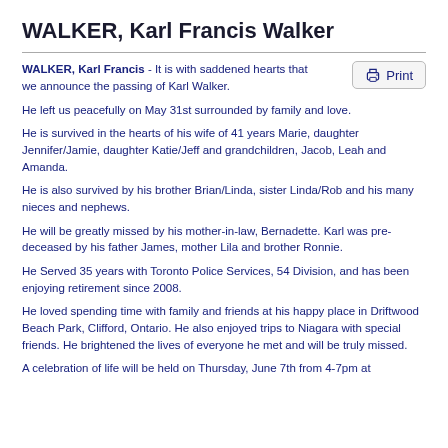WALKER, Karl Francis Walker
WALKER, Karl Francis - It is with saddened hearts that we announce the passing of Karl Walker.

He left us peacefully on May 31st surrounded by family and love.

He is survived in the hearts of his wife of 41 years Marie, daughter Jennifer/Jamie, daughter Katie/Jeff and grandchildren, Jacob, Leah and Amanda.

He is also survived by his brother Brian/Linda, sister Linda/Rob and his many nieces and nephews.

He will be greatly missed by his mother-in-law, Bernadette. Karl was pre-deceased by his father James, mother Lila and brother Ronnie.

He Served 35 years with Toronto Police Services, 54 Division, and has been enjoying retirement since 2008.

He loved spending time with family and friends at his happy place in Driftwood Beach Park, Clifford, Ontario. He also enjoyed trips to Niagara with special friends. He brightened the lives of everyone he met and will be truly missed.

A celebration of life will be held on Thursday, June 7th from 4-7pm at